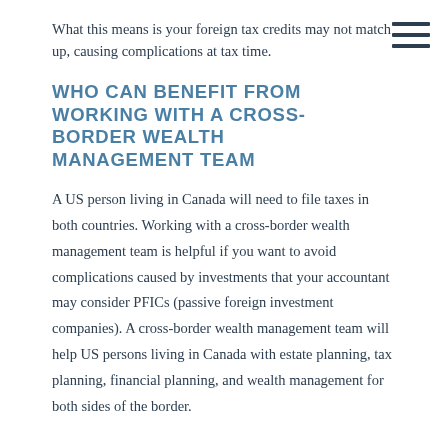What this means is your foreign tax credits may not match up, causing complications at tax time.
WHO CAN BENEFIT FROM WORKING WITH A CROSS-BORDER WEALTH MANAGEMENT TEAM
A US person living in Canada will need to file taxes in both countries. Working with a cross-border wealth management team is helpful if you want to avoid complications caused by investments that your accountant may consider PFICs (passive foreign investment companies). A cross-border wealth management team will help US persons living in Canada with estate planning, tax planning, financial planning, and wealth management for both sides of the border.